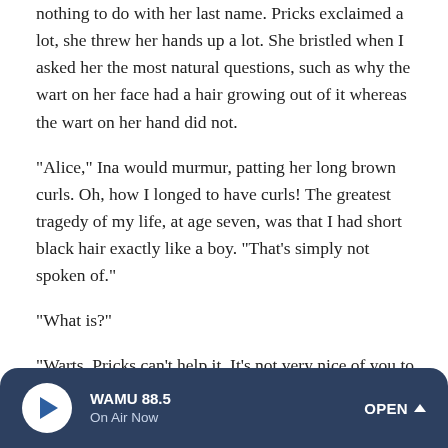nothing to do with her last name. Pricks exclaimed a lot, she threw her hands up a lot. She bristled when I asked her the most natural questions, such as why the wart on her face had a hair growing out of it whereas the wart on her hand did not.
"Alice," Ina would murmur, patting her long brown curls. Oh, how I longed to have curls! The greatest tragedy of my life, at age seven, was that I had short black hair exactly like a boy. "That's simply not spoken of."
"What is?"
"Warts. Pricks can't help it. It's not very nice of you to talk about it."
WAMU 88.5 On Air Now OPEN